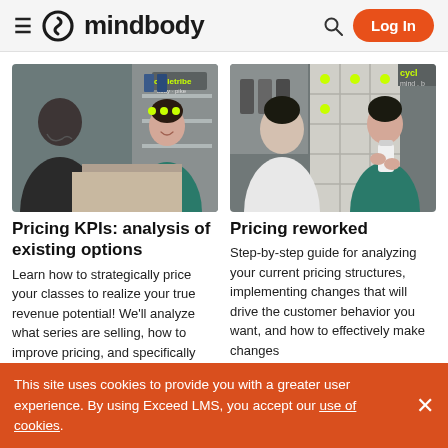mindbody — Log In
[Figure (photo): Two people shaking hands at a fitness studio counter with cycletribe branding in the background]
Pricing KPIs: analysis of existing options
Learn how to strategically price your classes to realize your true revenue potential! We'll analyze what series are selling, how to improve pricing, and specifically how
[Figure (photo): A fitness studio employee in a teal top handing a product to a customer, with cycle branding visible in the background]
Pricing reworked
Step-by-step guide for analyzing your current pricing structures, implementing changes that will drive the customer behavior you want, and how to effectively make changes
This site uses cookies to provide you with a greater user experience. By using Exceed LMS, you accept our use of cookies.